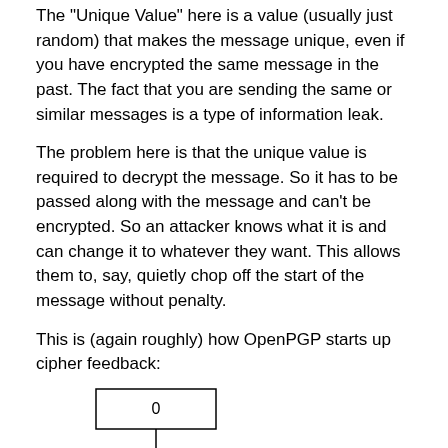The "Unique Value" here is a value (usually just random) that makes the message unique, even if you have encrypted the same message in the past. The fact that you are sending the same or similar messages is a type of information leak.
The problem here is that the unique value is required to decrypt the message. So it has to be passed along with the message and can't be encrypted. So an attacker knows what it is and can change it to whatever they want. This allows them to, say, quietly chop off the start of the message without penalty.
This is (again roughly) how OpenPGP starts up cipher feedback:
[Figure (flowchart): Flowchart showing OpenPGP cipher feedback startup: a box labeled '0' at top, arrow pointing down to a box labeled 'Encryption', with an arrow from a box labeled 'Key' pointing left into the 'Encryption' box.]